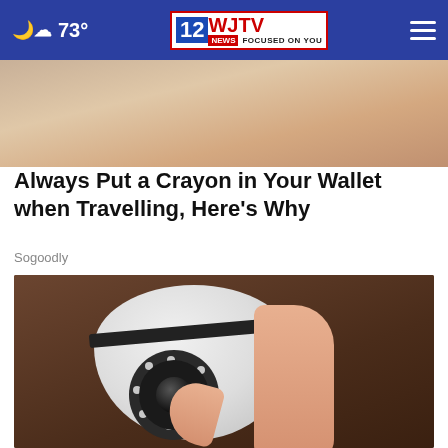73° | 12 WJTV NEWS FOCUSED ON YOU
[Figure (photo): Partial image at top of article, cropped photo showing warm tones]
Always Put a Crayon in Your Wallet when Travelling, Here's Why
Sogoodly
[Figure (photo): A person holding a white egg-shaped security camera with a lens and LED ring, against a dark wooden background]